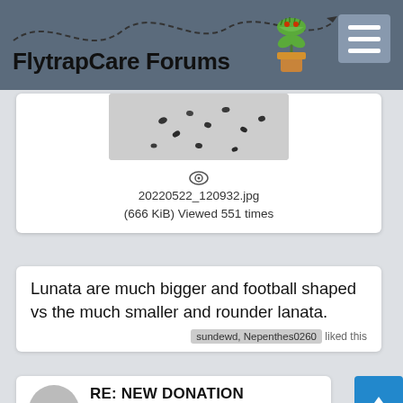FlytrapCare Forums
[Figure (photo): Partial view of seeds or small round objects on a light background, appearing as a cropped photo inside an attachment box]
20220522_120932.jpg
(666 KiB) Viewed 551 times
Lunata are much bigger and football shaped vs the much smaller and rounder lanata.
sundewd, Nepenthes0260 liked this
RE: NEW DONATION
By plantnordiules